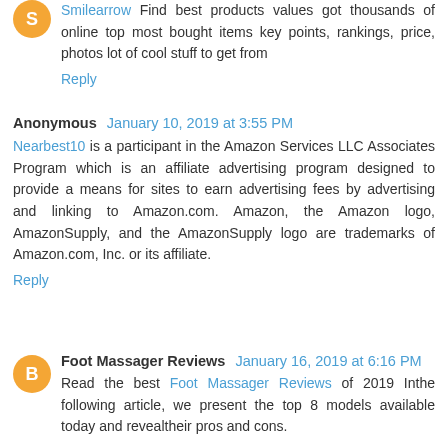Smilearrow Find best products values got thousands of online top most bought items key points, rankings, price, photos lot of cool stuff to get from
Reply
Anonymous January 10, 2019 at 3:55 PM
Nearbest10 is a participant in the Amazon Services LLC Associates Program which is an affiliate advertising program designed to provide a means for sites to earn advertising fees by advertising and linking to Amazon.com. Amazon, the Amazon logo, AmazonSupply, and the AmazonSupply logo are trademarks of Amazon.com, Inc. or its affiliate.
Reply
Foot Massager Reviews January 16, 2019 at 6:16 PM
Read the best Foot Massager Reviews of 2019 Inthe following article, we present the top 8 models available today and revealtheir pros and cons.